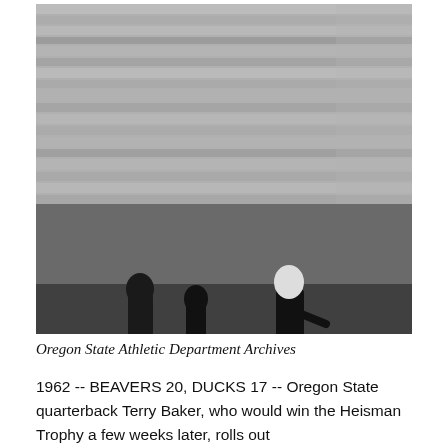[Figure (photo): Black and white photograph of a football game with a large crowd in the stands. Players are visible on the field, including what appears to be a quarterback rolling out.]
Oregon State Athletic Department Archives
1962 -- BEAVERS 20, DUCKS 17 -- Oregon State quarterback Terry Baker, who would win the Heisman Trophy a few weeks later, rolls out